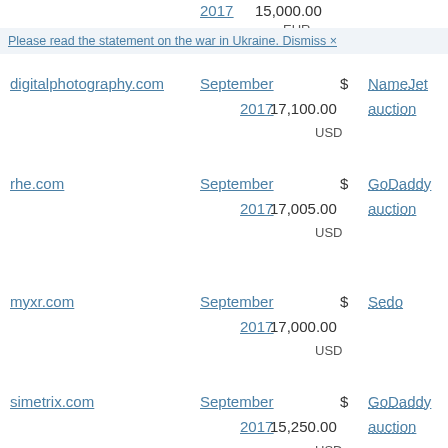2017  15,000.00
EUR
Please read the statement on the war in Ukraine. Dismiss ×
| Domain | Date | Price | Venue |
| --- | --- | --- | --- |
| digitalphotography.com | September 2017 | $ 17,100.00 USD | NameJet auction |
| rhe.com | September 2017 | $ 17,005.00 USD | GoDaddy auction |
| myxr.com | September 2017 | $ 17,000.00 USD | Sedo |
| simetrix.com | September 2017 | $ 15,250.00 USD | GoDaddy auction |